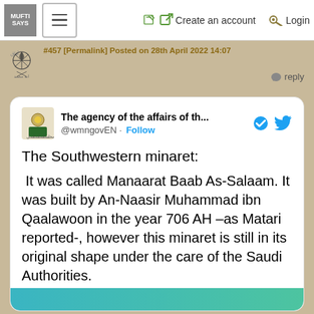MUFTI SAYS | ☰ | Create an account | Login
#457 [Permalink] Posted on 28th April 2022 14:07
reply
[Figure (screenshot): Tweet embed card from @wmngovEN showing text about the Southwestern minaret]
The agency of the affairs of th... @wmngovEN · Follow

The Southwestern minaret:

 It was called Manaarat Baab As-Salaam. It was built by An-Naasir Muhammad ibn Qaalawoon in the year 706 AH –as Matari reported-, however this minaret is still in its original shape under the care of the Saudi Authorities.